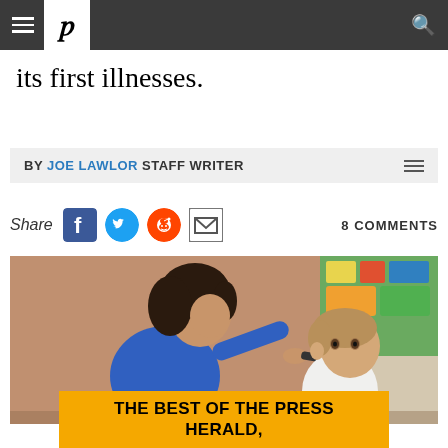Portland Press Herald navigation bar with hamburger menu, P logo, and search icon
its first illnesses.
BY JOE LAWLOR STAFF WRITER
Share  8 COMMENTS
[Figure (photo): A woman in a blue top leaning over to examine a young girl's ear with an otoscope in a classroom setting.]
THE BEST OF THE PRESS HERALD,